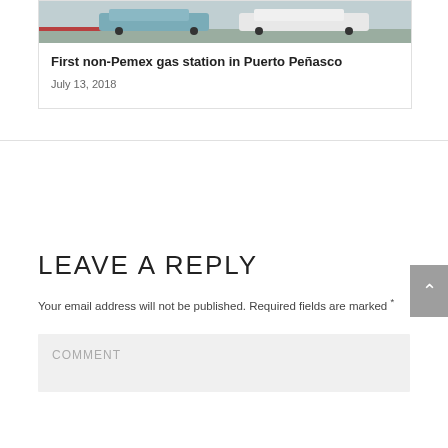[Figure (photo): Partial view of a parking lot with cars, cropped at top of frame. Two cars visible — a blue/teal sedan and a white car.]
First non-Pemex gas station in Puerto Peñasco
July 13, 2018
LEAVE A REPLY
Your email address will not be published. Required fields are marked *
COMMENT